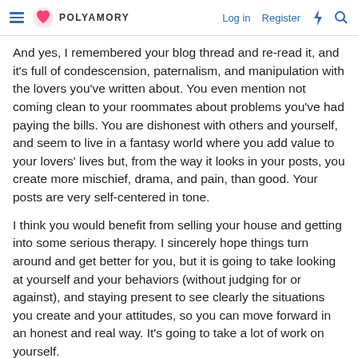POLYAMORY | Log in | Register
And yes, I remembered your blog thread and re-read it, and it's full of condescension, paternalism, and manipulation with the lovers you've written about. You even mention not coming clean to your roommates about problems you've had paying the bills. You are dishonest with others and yourself, and seem to live in a fantasy world where you add value to your lovers' lives but, from the way it looks in your posts, you create more mischief, drama, and pain, than good. Your posts are very self-centered in tone.
I think you would benefit from selling your house and getting into some serious therapy. I sincerely hope things turn around and get better for you, but it is going to take looking at yourself and your behaviors (without judging for or against), and staying present to see clearly the situations you create and your attitudes, so you can move forward in an honest and real way. It's going to take a lot of work on yourself.
Last edited: Aug 1, 2016
The world opens up... when you do.